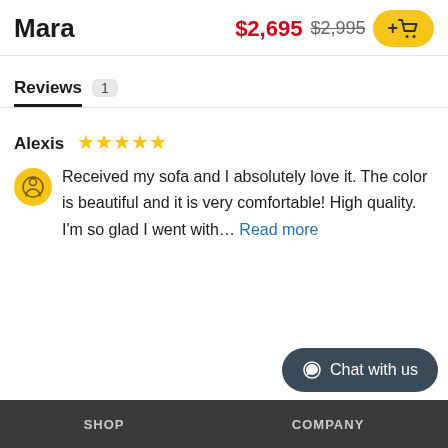Mara
$2,695 $2,995
Reviews 1
Alexis ★★★★★
Received my sofa and I absolutely love it. The color is beautiful and it is very comfortable! High quality. I'm so glad I went with... Read more
Chat with us
SHOP   COMPANY